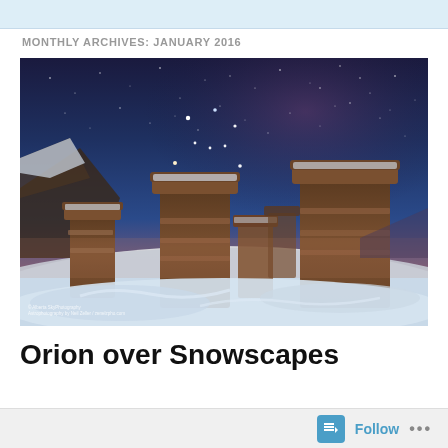MONTHLY ARCHIVES: JANUARY 2016
[Figure (photo): Night sky astrophotography over snow-covered hoodoo rock formations (sandstone pillars). Orion constellation is visible in the deep blue starry sky above the brown, snow-capped hoodoos in a winter landscape.]
Orion over Snowscapes
Follow